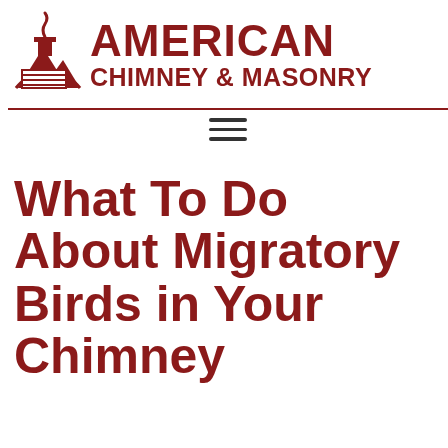[Figure (logo): American Chimney & Masonry logo with a mountain/chimney icon on the left and bold red text AMERICAN CHIMNEY & MASONRY on the right]
What To Do About Migratory Birds in Your Chimney